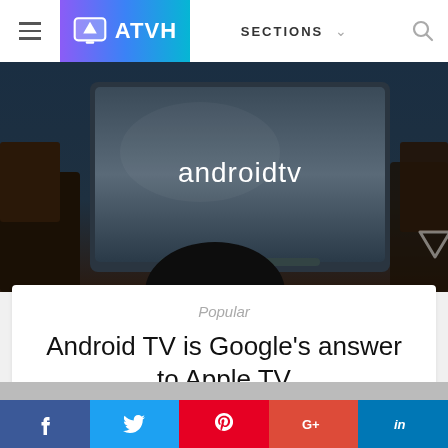ATVH — SECTIONS
[Figure (screenshot): Android TV promotional image showing a TV screen displaying the 'androidtv' logo in a dark room setting, with a downward-pointing triangle overlay in the bottom-right corner.]
Popular
Android TV is Google's answer to Apple TV
Roshan • June 26, 2014
f  t  p  G+  in